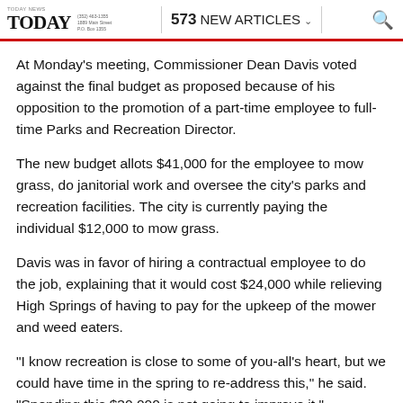TODAY  573 NEW ARTICLES
At Monday's meeting, Commissioner Dean Davis voted against the final budget as proposed because of his opposition to the promotion of a part-time employee to full-time Parks and Recreation Director.
The new budget allots $41,000 for the employee to mow grass, do janitorial work and oversee the city's parks and recreation facilities. The city is currently paying the individual $12,000 to mow grass.
Davis was in favor of hiring a contractual employee to do the job, explaining that it would cost $24,000 while relieving High Springs of having to pay for the upkeep of the mower and weed eaters.
"I know recreation is close to some of you-all's heart, but we could have time in the spring to re-address this," he said. "Spending this $30,000 is not going to improve it."